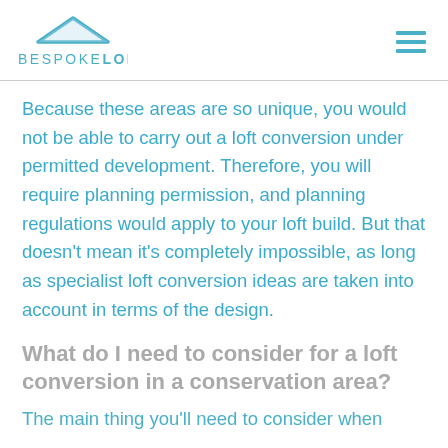BESPOKE LOFTS
Because these areas are so unique, you would not be able to carry out a loft conversion under permitted development. Therefore, you will require planning permission, and planning regulations would apply to your loft build. But that doesn't mean it's completely impossible, as long as specialist loft conversion ideas are taken into account in terms of the design.
What do I need to consider for a loft conversion in a conservation area?
The main thing you'll need to consider when